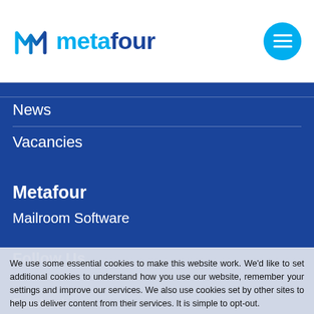metafour [logo with navigation menu button]
News
Vacancies
Metafour
Mailroom Software
Follow Us
We use some essential cookies to make this website work. We'd like to set additional cookies to understand how you use our website, remember your settings and improve our services. We also use cookies set by other sites to help us deliver content from their services. It is simple to opt-out.
Accept | Decline | Cookie Settings
Facebook